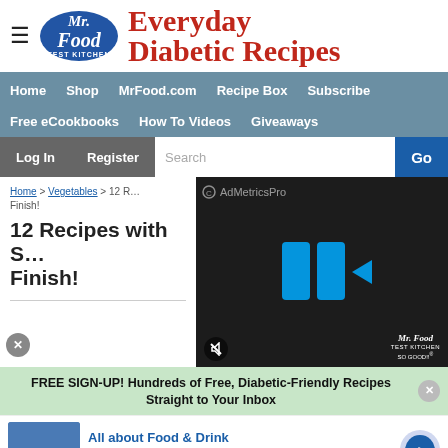Mr. Food Test Kitchen — Everyday Diabetic Recipes
[Figure (screenshot): Navigation bar with Home, Shop, MrFood.com, Recipe Box, Subscribe, Free eCookbooks, How To Videos, Giveaways links on blue-grey background]
[Figure (screenshot): Secondary navigation with Log In, Register buttons and Search box with Go button]
Home > Vegetables > 12 Recipes with S… Finish!
12 Recipes with S… Finish!
[Figure (screenshot): AdMetricsPro video overlay panel with play icon and Mr. Food Test Kitchen branding, mute button]
FREE SIGN-UP! Hundreds of Free, Diabetic-Friendly Recipes Straight to Your Inbox
[Figure (advertisement): Ad banner: All about Food & Drink — visit piresdesentupidora.com/ to learn more, www.piresdesentupidora.com, with food/drink image on left and arrow button on right]